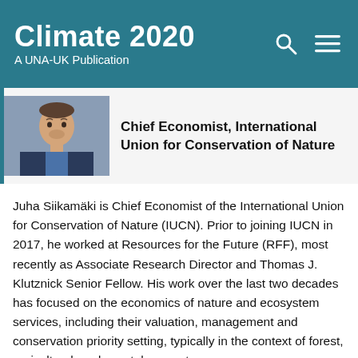Climate 2020 — A UNA-UK Publication
Chief Economist, International Union for Conservation of Nature
[Figure (photo): Headshot photo of Juha Siikamäki, a man in a suit and blue shirt, smiling.]
Juha Siikamäki is Chief Economist of the International Union for Conservation of Nature (IUCN). Prior to joining IUCN in 2017, he worked at Resources for the Future (RFF), most recently as Associate Research Director and Thomas J. Klutznick Senior Fellow. His work over the last two decades has focused on the economics of nature and ecosystem services, including their valuation, management and conservation priority setting, typically in the context of forest, agricultural, and coastal ecosystems